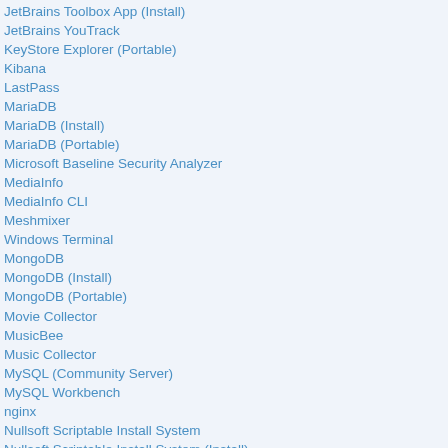JetBrains Toolbox App (Install)
JetBrains YouTrack
KeyStore Explorer (Portable)
Kibana
LastPass
MariaDB
MariaDB (Install)
MariaDB (Portable)
Microsoft Baseline Security Analyzer
MediaInfo
MediaInfo CLI
Meshmixer
Windows Terminal
MongoDB
MongoDB (Install)
MongoDB (Portable)
Movie Collector
MusicBee
Music Collector
MySQL (Community Server)
MySQL Workbench
nginx
Nullsoft Scriptable Install System
Nullsoft Scriptable Install System (Install)
Nullsoft Scriptable Install System (Portable)
OctoFarm
OmniDB-app
OmniDB-server
Openfire